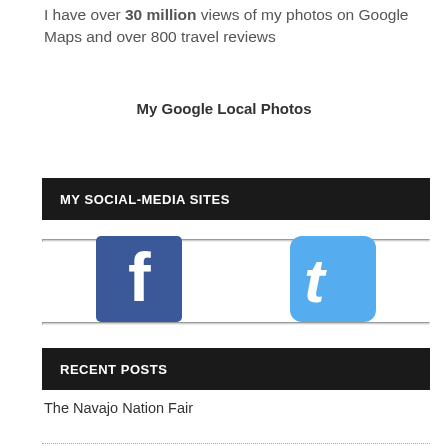I have over 30 million views of my photos on Google Maps and over 800 travel reviews
My Google Local Photos
MY SOCIAL-MEDIA SITES
[Figure (logo): Facebook logo icon - blue square with white 'f']
[Figure (logo): Twitter logo icon - light blue rounded square with white bird/letter t]
RECENT POSTS
The Navajo Nation Fair